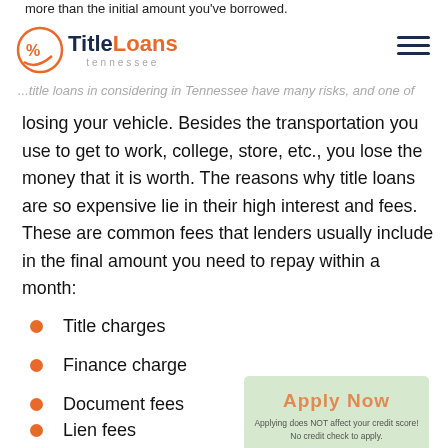TitleLoans tennessee
losing your vehicle. Besides the transportation you use to get to work, college, store, etc., you lose the money that it is worth. The reasons why title loans are so expensive lie in their high interest and fees. These are common fees that lenders usually include in the final amount you need to repay within a month:
Title charges
Finance charge
Document fees
Lien fees
Processing fees
Late fees